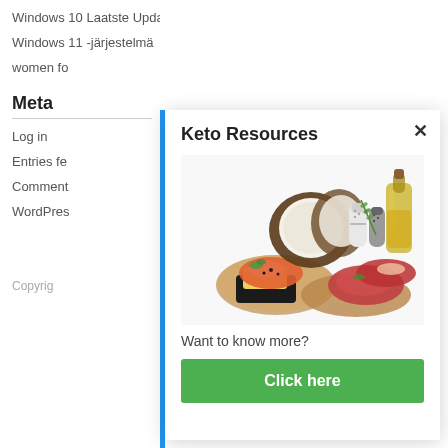Windows 10 Laatste Updates
Windows 11 -järjestelmä
women fo
Meta
Log in
Entries fe
Comment
WordPres
Copyrig
Keto Resources
[Figure (photo): Keto diet food items including coconut halves, olive oil bottle, salt and pepper shakers, salmon fillet on wooden board, raw meat cuts, and butter on a dark tray]
Want to know more?
Click here